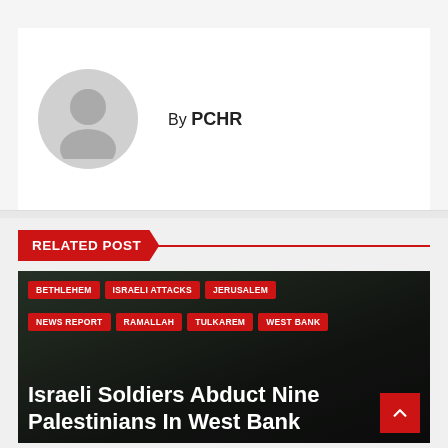By PCHR
RELATED POST
[Figure (photo): Dark background image of a scene, overlaid with category tags and article title 'Israeli Soldiers Abduct Nine Palestinians In West Bank']
Israeli Soldiers Abduct Nine Palestinians In West Bank